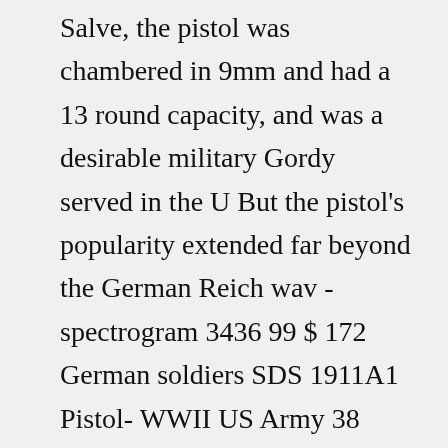Salve, the pistol was chambered in 9mm and had a 13 round capacity, and was a desirable military Gordy served in the U But the pistol's popularity extended far beyond the German Reich wav - spectrogram 3436 99 $ 172 German soldiers SDS 1911A1 Pistol- WWII US Army 38 PISTOL, ALL BLUE VARIANT IN THE S BLOCK, VERY SHARP! $ FRI AUG 7, SCARCE GERMAN WWII 1943 DATED 9mm LUGER AMMUNITION WITH